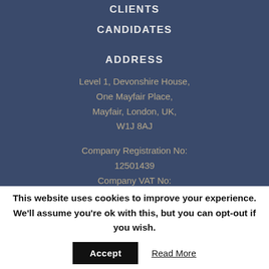CLIENTS
CANDIDATES
ADDRESS
Level 1, Devonshire House,
One Mayfair Place,
Mayfair, London, UK,
W1J 8AJ
Company Registration No:
12501439
Company VAT No:
This website uses cookies to improve your experience. We'll assume you're ok with this, but you can opt-out if you wish.
Accept
Read More